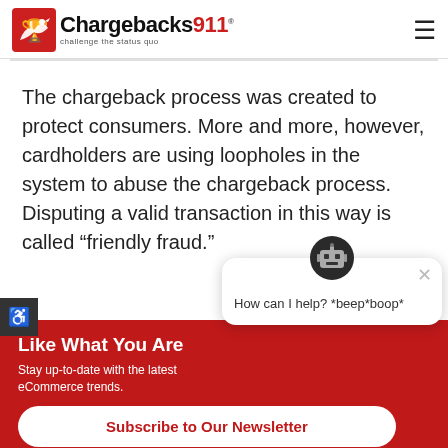[Figure (logo): Chargebacks911 logo with red bird icon and tagline 'challenge the status quo']
The chargeback process was created to protect consumers. More and more, however, cardholders are using loopholes in the system to abuse the chargeback process. Disputing a valid transaction in this way is called “friendly fraud.”
Like What You Are
Stay up-to-date with the latest eCommerce trends.
Subscribe to Our Newsletter
[Figure (screenshot): Chatbot popup with robot avatar saying 'How can I help? *beep*boop*']